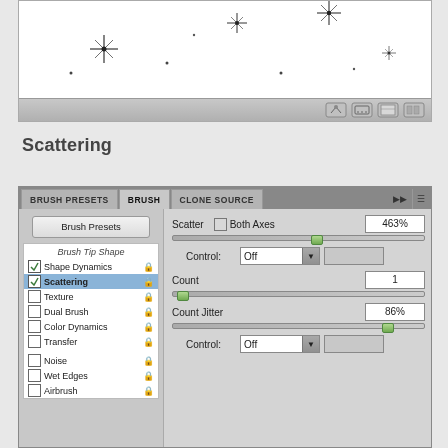[Figure (screenshot): Photoshop brush preview panel showing scattered star-shaped brush strokes on white background, with toolbar at the bottom containing camera/keyboard/panel icons]
Scattering
[Figure (screenshot): Photoshop Brush panel showing Scattering settings. Left sidebar: Brush Presets button, list including Brush Tip Shape, Shape Dynamics (checked), Scattering (checked/selected, bold), Texture, Dual Brush, Color Dynamics, Transfer, Noise, Wet Edges, Airbrush. Right content: Scatter with Both Axes checkbox and 463% value, slider, Control: Off dropdown, Count: 1, Count Jitter: 86% with slider, Control: Off dropdown.]